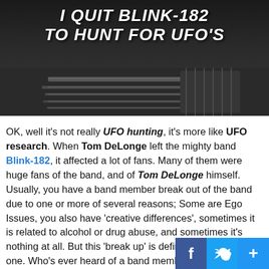[Figure (photo): Banner image showing a guitar player on stage with overlaid text reading 'I QUIT BLINK-182 TO HUNT FOR UFO'S' and watermark 'concerttours']
OK, well it's not really UFO hunting, it's more like UFO research. When Tom DeLonge left the mighty band Blink-182, it affected a lot of fans. Many of them were huge fans of the band, and of Tom DeLonge himself. Usually, you have a band member break out of the band due to one or more of several reasons; Some are Ego Issues, you also have 'creative differences', sometimes it is related to alcohol or drug abuse, and sometimes it's nothing at all. But this 'break up' is definitely a strange one. Who's ever heard of a band member leaving a band to go do research on UFOs (Unidentified Flying Objects). Well now you have! For now, no more will Tom b... be playing his guitar or singing for Blink-182, but you